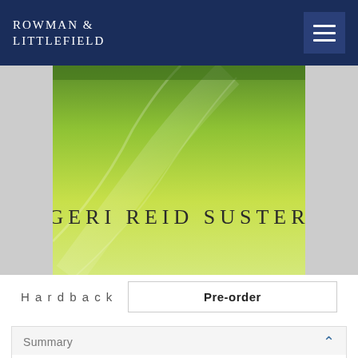ROWMAN & LITTLEFIELD
[Figure (illustration): Book cover with green gradient background showing author name GERI REID SUSTER in dark text]
Hardback   Pre-order
Summary
Offers advice on how to handle various exits in life, from death and loss, to firings and breakups with empathy and humor.